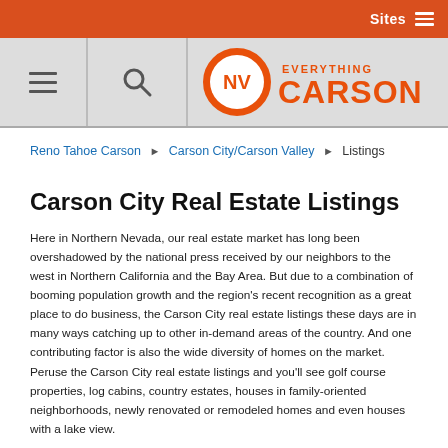Sites ☰
[Figure (logo): Everything Carson logo with orange circular NV emblem and orange text reading EVERYTHING CARSON]
Reno Tahoe Carson ▶ Carson City/Carson Valley ▶ Listings
Carson City Real Estate Listings
Here in Northern Nevada, our real estate market has long been overshadowed by the national press received by our neighbors to the west in Northern California and the Bay Area. But due to a combination of booming population growth and the region's recent recognition as a great place to do business, the Carson City real estate listings these days are in many ways catching up to other in-demand areas of the country. And one contributing factor is also the wide diversity of homes on the market. Peruse the Carson City real estate listings and you'll see golf course properties, log cabins, country estates, houses in family-oriented neighborhoods, newly renovated or remodeled homes and even houses with a lake view.